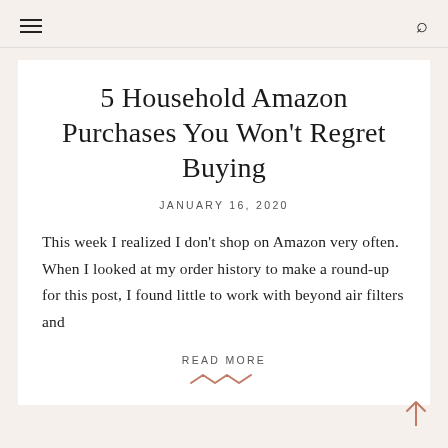navigation bar with hamburger menu and search icon
5 Household Amazon Purchases You Won't Regret Buying
JANUARY 16, 2020
This week I realized I don't shop on Amazon very often. When I looked at my order history to make a round-up for this post, I found little to work with beyond air filters and
READ MORE